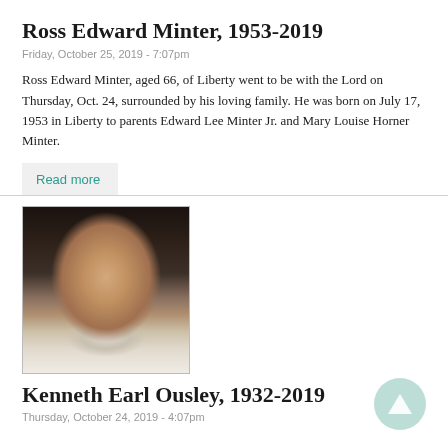Ross Edward Minter, 1953-2019
Friday, October 25, 2019 - 7:07pm
Ross Edward Minter, aged 66, of Liberty went to be with the Lord on Thursday, Oct. 24, surrounded by his loving family. He was born on July 17, 1953 in Liberty to parents Edward Lee Minter Jr. and Mary Louise Horner Minter.
Read more
[Figure (photo): Portrait photo of an elderly man wearing glasses, bald, smiling slightly, wearing a white shirt, taken indoors]
Kenneth Earl Ousley, 1932-2019
Thursday, October 24, 2019 - 4:07pm